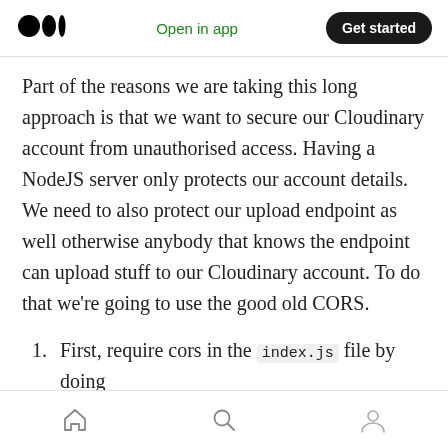Medium logo | Open in app | Get started
Part of the reasons we are taking this long approach is that we want to secure our Cloudinary account from unauthorised access. Having a NodeJS server only protects our account details. We need to also protect our upload endpoint as well otherwise anybody that knows the endpoint can upload stuff to our Cloudinary account. To do that we're going to use the good old CORS.
First, require cors in the index.js file by doing
Home | Search | Profile